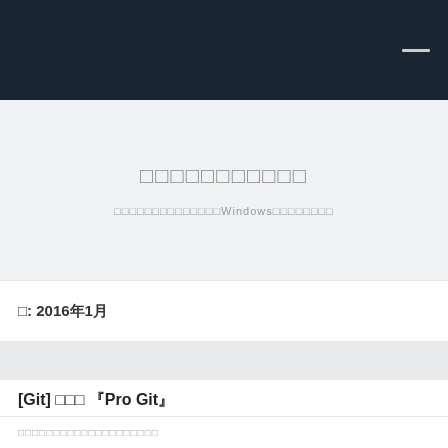□□□□□□□□□□□
□□□□□□□□□□□□□□Windows□□□□□□□□
□: 2016年1月
[Git] □□□ 『Pro Git』
2016年1月31日
□□□□□□□□□□□□□□□□□□□□